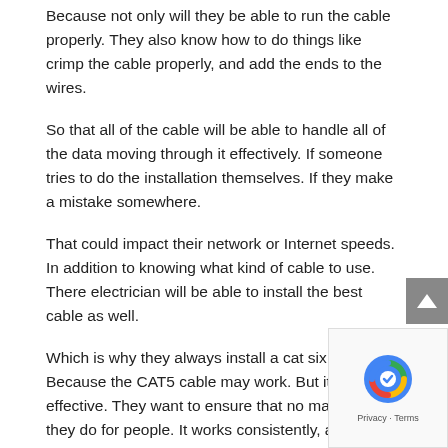Because not only will they be able to run the cable properly. They also know how to do things like crimp the cable properly, and add the ends to the wires.
So that all of the cable will be able to handle all of the data moving through it effectively. If someone tries to do the installation themselves. If they make a mistake somewhere.
That could impact their network or Internet speeds. In addition to knowing what kind of cable to use. There electrician will be able to install the best cable as well.
Which is why they always install a cat six cable. Because the CAT5 cable may work. But it is not as effective. They want to ensure that no matter what they do for people. It works consistently, and to its best capabilities.
There are many things that people should take into